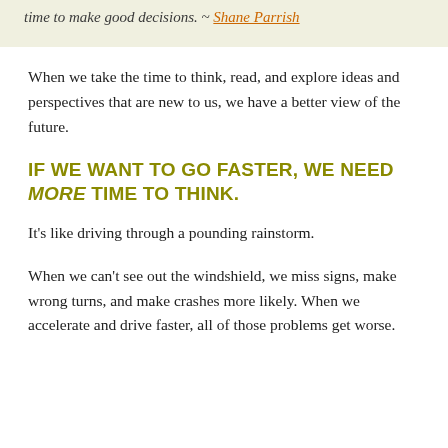time to make good decisions. ~ Shane Parrish
When we take the time to think, read, and explore ideas and perspectives that are new to us, we have a better view of the future.
IF WE WANT TO GO FASTER, WE NEED MORE TIME TO THINK.
It's like driving through a pounding rainstorm.
When we can't see out the windshield, we miss signs, make wrong turns, and make crashes more likely. When we accelerate and drive faster, all of those problems get worse.